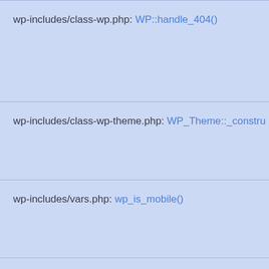wp-includes/class-wp.php: WP::handle_404()
wp-includes/class-wp-theme.php: WP_Theme::__constru
wp-includes/vars.php: wp_is_mobile()
wp-includes/class-wp.php: WP::parse_request()